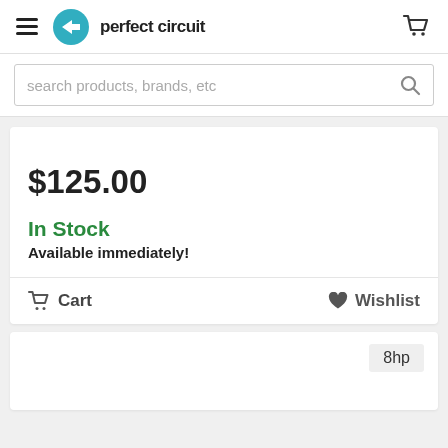perfect circuit
search products, brands, etc
$125.00
In Stock
Available immediately!
Cart
Wishlist
8hp